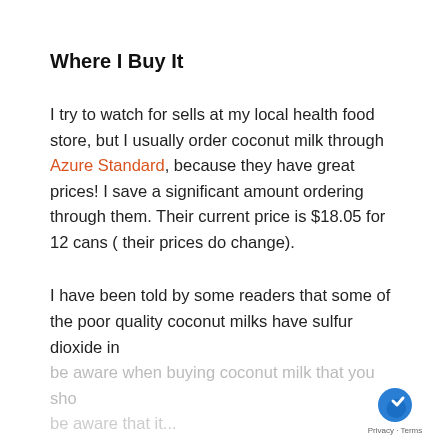Where I Buy It
I try to watch for sells at my local health food store, but I usually order coconut milk through Azure Standard, because they have great prices! I save a significant amount ordering through them. Their current price is $18.05 for 12 cans ( their prices do change).
I have been told by some readers that some of the poor quality coconut milks have sulfur dioxide in be aware when buying coconut milk that you sho be aware that it...